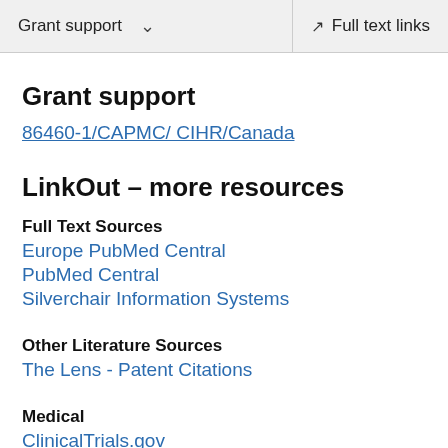Grant support  ∨   Full text links
Grant support
86460-1/CAPMC/ CIHR/Canada
LinkOut – more resources
Full Text Sources
Europe PubMed Central
PubMed Central
Silverchair Information Systems
Other Literature Sources
The Lens - Patent Citations
Medical
ClinicalTrials.gov
MedlinePlus Consumer Health Information